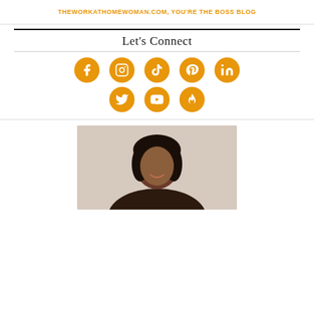THEWORKATHOMEWOMAN.COM, YOU'RE THE BOSS BLOG
Let's Connect
[Figure (infographic): Eight orange circular social media icons: Facebook, Instagram, TikTok, Pinterest, LinkedIn (top row), Twitter, YouTube, and a fire/Hinge icon (bottom row)]
[Figure (photo): Portrait photo of a smiling Black woman with dark shoulder-length hair, against a light beige background]